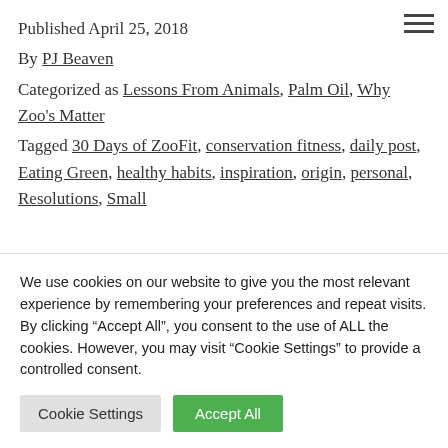Published April 25, 2018
By PJ Beaven
Categorized as Lessons From Animals, Palm Oil, Why Zoo's Matter
Tagged 30 Days of ZooFit, conservation fitness, daily post, Eating Green, healthy habits, inspiration, origin, personal, Resolutions, Small
We use cookies on our website to give you the most relevant experience by remembering your preferences and repeat visits. By clicking “Accept All”, you consent to the use of ALL the cookies. However, you may visit “Cookie Settings” to provide a controlled consent.